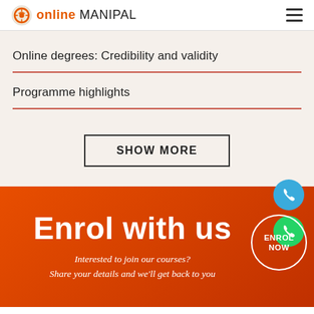online MANIPAL
Online degrees: Credibility and validity
Programme highlights
SHOW MORE
Enrol with us
Interested to join our courses?
Share your details and we'll get back to you